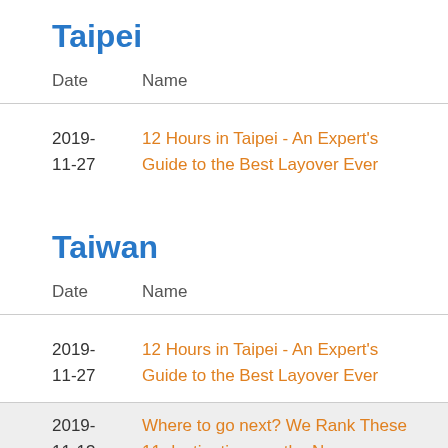Taipei
| Date | Name |
| --- | --- |
| 2019-
11-27 | 12 Hours in Taipei - An Expert's Guide to the Best Layover Ever |
Taiwan
| Date | Name |
| --- | --- |
| 2019-
11-27 | 12 Hours in Taipei - An Expert's Guide to the Best Layover Ever |
| 2019-
11-13 | Where to go next? We Rank These 11 destinations as the New Wonders of the World |